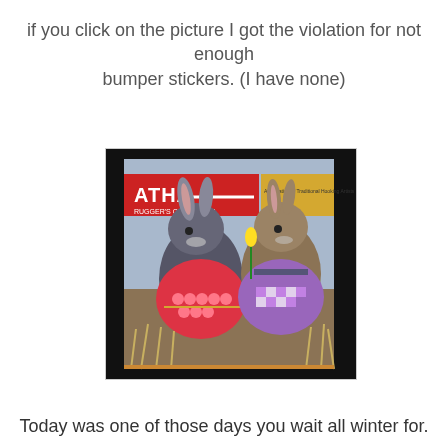if you click on the picture I got the violation for not enough bumper stickers. (I have none)
[Figure (photo): Photo of ATHA Rugger's Companion magazine cover featuring a hooked rug with two rabbits wearing colorful patterned clothing, set against a dark background.]
Today was one of those days you wait all winter for.